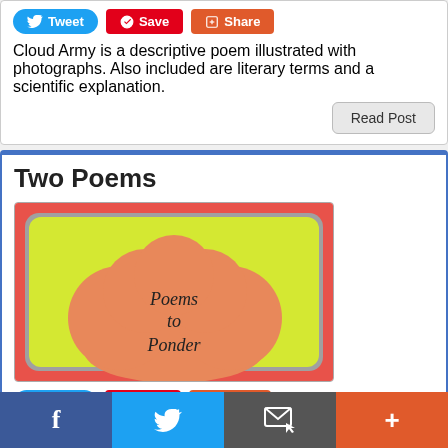Cloud Army is a descriptive poem illustrated with photographs. Also included are literary terms and a scientific explanation.
Read Post
Two Poems
[Figure (illustration): Book cover illustration showing a cloud shape (orange/salmon) on a yellow-green background with red/coral border, text reads 'Poems to Ponder']
Facebook   Twitter   Email   More (share buttons)